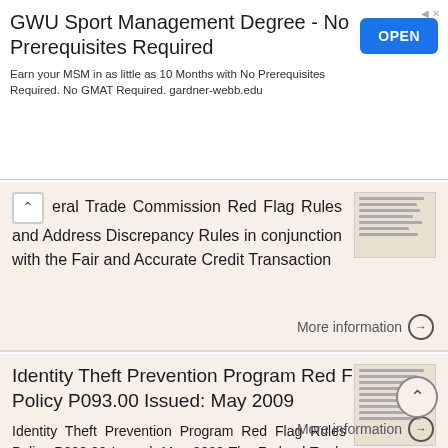[Figure (other): Advertisement banner: GWU Sport Management Degree - No Prerequisites Required. Earn your MSM in as little as 10 Months with No Prerequisites Required. No GMAT Required. gardner-webb.edu. With an OPEN button.]
eral Trade Commission Red Flag Rules and Address Discrepancy Rules in conjunction with the Fair and Accurate Credit Transaction
More information →
Identity Theft Prevention Program Red Flag Rules Policy P093.00 Issued: May 2009
Identity Theft Prevention Program Red Flag Rules Policy P093.00 Issued: May 2009 The Federal Trade Commission has issued a final rule (the Red Flag Rule) under the Fair and Accurate Credit Transactions
More information →